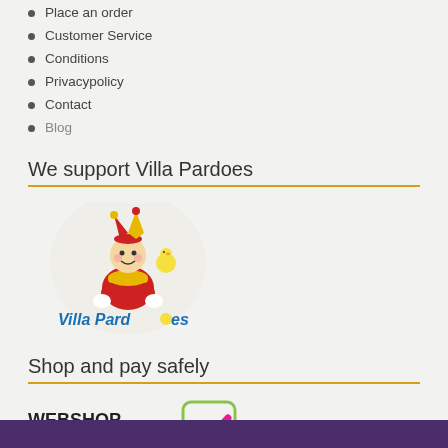Place an order
Customer Service
Conditions
Privacypolicy
Contact
Blog
We support Villa Pardoes
[Figure (logo): Villa Pardoes logo with jester character and colorful text]
Shop and pay safely
[Figure (logo): Webshop Trustmark logo with green checkmark]